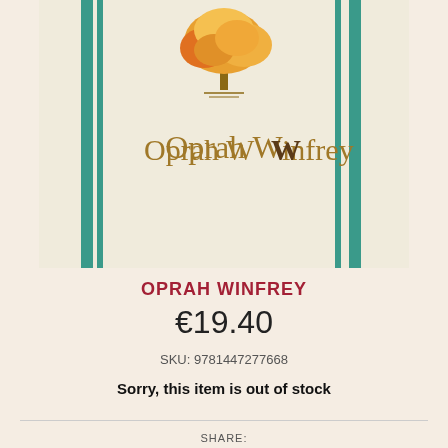[Figure (illustration): Book cover showing 'Oprah Winfrey' title text in gold/brown serif font on a cream/off-white background with vertical teal/green stripes on left and right sides, and an orange tree illustration at the top center.]
OPRAH WINFREY
€19.40
SKU: 9781447277668
Sorry, this item is out of stock
SHARE: